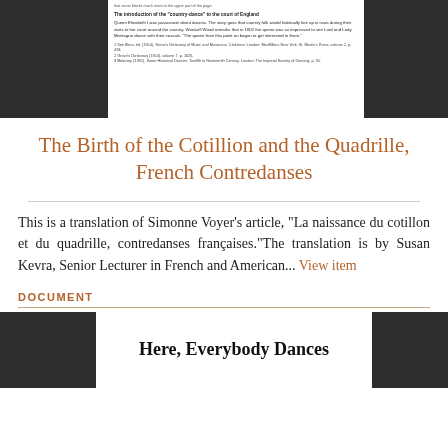[Figure (screenshot): Top portion of a document page showing text about 'The introduction of the country dance to the court of England' with footnotes, flanked by dark blocks on left and right]
The Birth of the Cotillion and the Quadrille, French Contredanses
This is a translation of Simonne Voyer's article, "La naissance du cotillon et du quadrille, contredanses françaises."The translation is by Susan Kevra, Senior Lecturer in French and American... View item
DOCUMENT
[Figure (screenshot): Bottom portion showing beginning of a document with bold title 'Here, Everybody Dances' flanked by dark blocks on left and right]